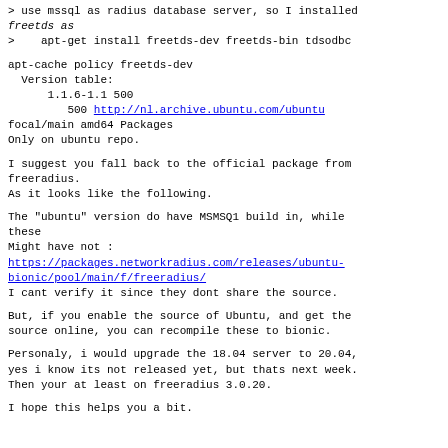> use mssql as radius database server, so I installed freetds as
>    apt-get install freetds-dev freetds-bin tdsodbc
apt-cache policy freetds-dev
  Version table:
      1.1.6-1.1 500
         500 http://nl.archive.ubuntu.com/ubuntu focal/main amd64 Packages
Only on ubuntu repo.
I suggest you fall back to the official package from freeradius.
As it looks like the following.
The "ubuntu" version do have MSMSQ1 build in, while these
Might have not :
https://packages.networkradius.com/releases/ubuntu-bionic/pool/main/f/freeradius/
I cant verify it since they dont share the source.
But, if you enable the source of Ubuntu, and get the source online, you can recompile these to bionic.
Personaly, i would upgrade the 18.04 server to 20.04, yes i know its not released yet, but thats next week.
Then your at least on freeradius 3.0.20.
I hope this helps you a bit.